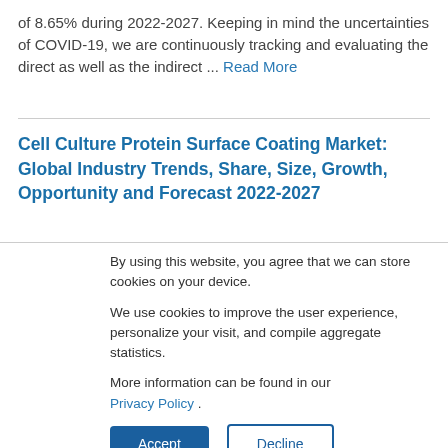of 8.65% during 2022-2027. Keeping in mind the uncertainties of COVID-19, we are continuously tracking and evaluating the direct as well as the indirect ... Read More
Cell Culture Protein Surface Coating Market: Global Industry Trends, Share, Size, Growth, Opportunity and Forecast 2022-2027
By using this website, you agree that we can store cookies on your device.

We use cookies to improve the user experience, personalize your visit, and compile aggregate statistics.

More information can be found in our Privacy Policy .